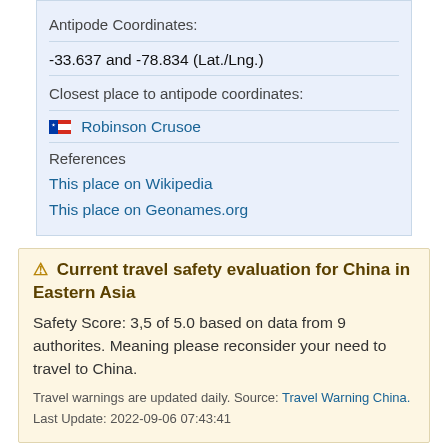Antipode Coordinates:
-33.637 and -78.834 (Lat./Lng.)
Closest place to antipode coordinates:
Robinson Crusoe
References
This place on Wikipedia
This place on Geonames.org
⚠ Current travel safety evaluation for China in Eastern Asia
Safety Score: 3,5 of 5.0 based on data from 9 authorites. Meaning please reconsider your need to travel to China.
Travel warnings are updated daily. Source: Travel Warning China.
Last Update: 2022-09-06 07:43:41
Explore Zaindainxoi